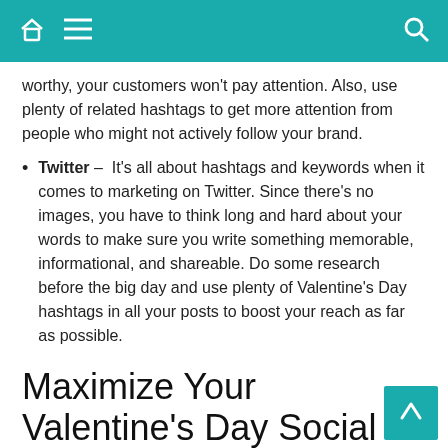Navigation bar with home, menu, and search icons
worthy, your customers won't pay attention. Also, use plenty of related hashtags to get more attention from people who might not actively follow your brand.
Twitter – It's all about hashtags and keywords when it comes to marketing on Twitter. Since there's no images, you have to think long and hard about your words to make sure you write something memorable, informational, and shareable. Do some research before the big day and use plenty of Valentine's Day hashtags in all your posts to boost your reach as far as possible.
Maximize Your Valentine's Day Social Media Strategies
Valentine's Day is a great time of year to promote your products and services on social media. People are looking for great gifts for their significant others, so why shouldn't they buy from you? By using